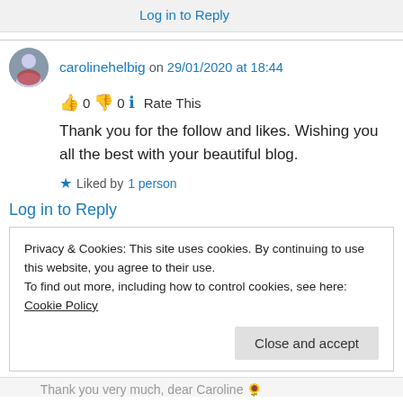Log in to Reply
carolinehelbig on 29/01/2020 at 18:44
👍 0 👎 0 ℹ Rate This
Thank you for the follow and likes. Wishing you all the best with your beautiful blog.
★ Liked by 1 person
Log in to Reply
Privacy & Cookies: This site uses cookies. By continuing to use this website, you agree to their use.
To find out more, including how to control cookies, see here: Cookie Policy
Close and accept
Thank you very much, dear Caroline 🌻